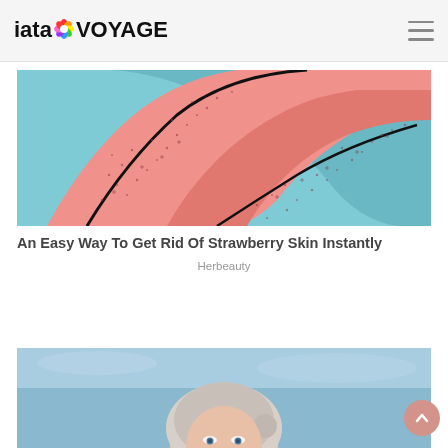iatal VOYAGE
[Figure (illustration): Illustration of a leg/elbow with strawberry skin (enlarged pores shown as small dots on pink/salmon skin) against a teal/cyan background]
An Easy Way To Get Rid Of Strawberry Skin Instantly
Herbeauty
[Figure (photo): Photo of a woman with silver/blonde hair and blue eyes looking forward, in a cold/winter setting with icy blue background]